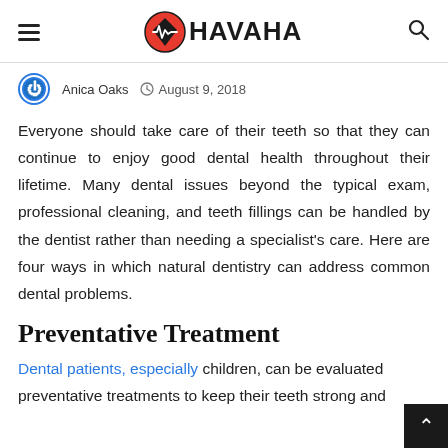HAVAHA
Anica Oaks   August 9, 2018
Everyone should take care of their teeth so that they can continue to enjoy good dental health throughout their lifetime. Many dental issues beyond the typical exam, professional cleaning, and teeth fillings can be handled by the dentist rather than needing a specialist's care. Here are four ways in which natural dentistry can address common dental problems.
Preventative Treatment
Dental patients, especially children, can be evaluated preventative treatments to keep their teeth strong and